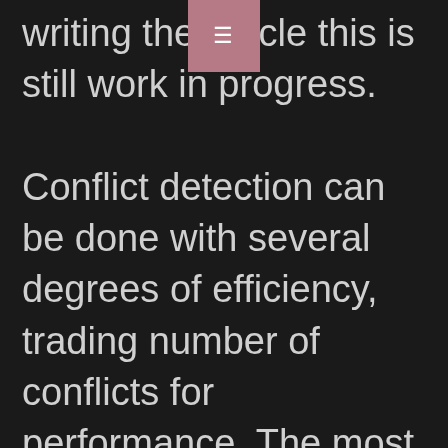writing the article this is still work in progress. Conflict detection can be done with several degrees of efficiency, trading number of conflicts for performance. The most performant way is to not analyze the content of the channel but